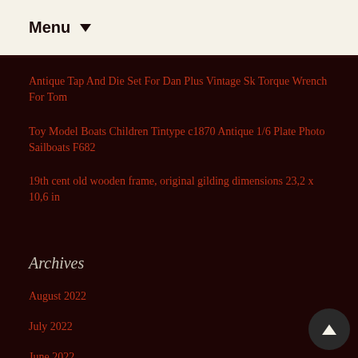Menu
Antique Tap And Die Set For Dan Plus Vintage Sk Torque Wrench For Tom
Toy Model Boats Children Tintype c1870 Antique 1/6 Plate Photo Sailboats F682
19th cent old wooden frame, original gilding dimensions 23,2 x 10,6 in
Archives
August 2022
July 2022
June 2022